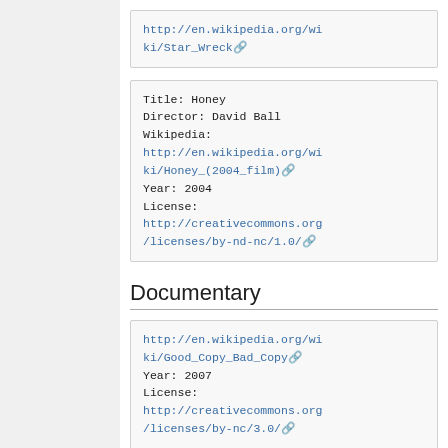http://en.wikipedia.org/wiki/Star_Wreck
Title: Honey
Director: David Ball
Wikipedia: http://en.wikipedia.org/wiki/Honey_(2004_film)
Year: 2004
License: http://creativecommons.org/licenses/by-nd-nc/1.0/
Documentary
http://en.wikipedia.org/wiki/Good_Copy_Bad_Copy
Year: 2007
License: http://creativecommons.org/licenses/by-nc/3.0/